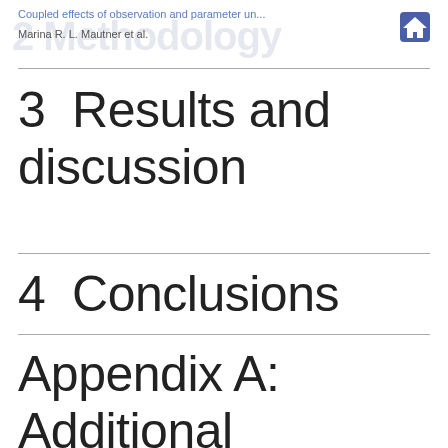Coupled effects of observation and parameter un... | Marina R. L. Mautner et al.
3  Results and discussion
4  Conclusions
Appendix A:  Additional figures